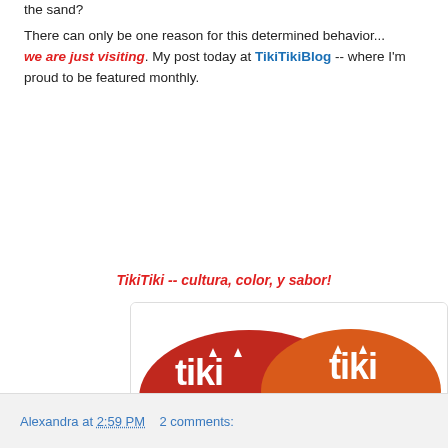the sand?
There can only be one reason for this determined behavior... we are just visiting. My post today at TikiTikiBlog -- where I'm proud to be featured monthly.
TikiTiki -- cultura, color, y sabor!
[Figure (logo): TikiTiki blog logo: two speech bubbles (red and orange) with 'tiki tiki' text, tagline 'stories with cultura, color and sabor', subtitle 'A Latina blog celebrating Latin culture']
Alexandra at 2:59 PM   2 comments: